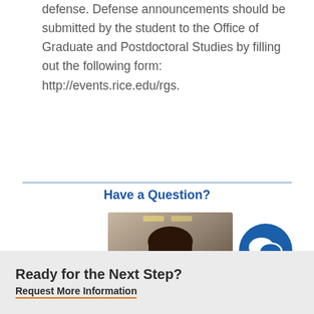defense. Defense announcements should be submitted by the student to the Office of Graduate and Postdoctoral Studies by filling out the following form: http://events.rice.edu/rgs.
Have a Question?
[Figure (photo): Portrait photo of a smiling woman with long dark hair in an indoor hallway setting]
[Figure (illustration): Blue circle with white chat/speech bubble icon]
Ready for the Next Step?
Request More Information